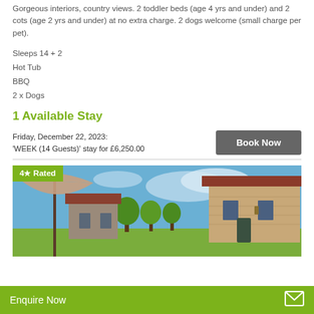Gorgeous interiors, country views. 2 toddler beds (age 4 yrs and under) and 2 cots (age 2 yrs and under) at no extra charge. 2 dogs welcome (small charge per pet).
Sleeps 14 + 2
Hot Tub
BBQ
2 x Dogs
1 Available Stay
Friday, December 22, 2023:
'WEEK (14 Guests)' stay for £6,250.00
[Figure (photo): Exterior photo of a stone barn conversion property with red tile roof, blue sky, green trees, and outdoor umbrella/parasol in foreground. Has a 4-star rated badge overlay.]
Enquire Now